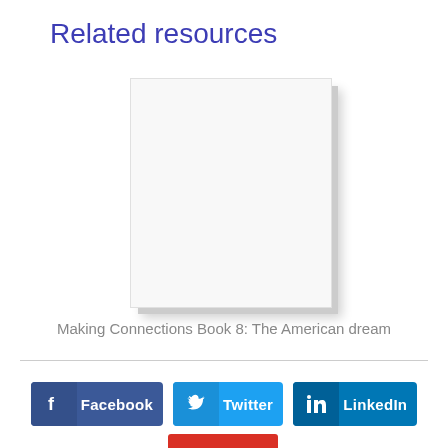Related resources
[Figure (illustration): Blank white book cover thumbnail for 'Making Connections Book 8: The American dream']
Making Connections Book 8: The American dream
Facebook  Twitter  LinkedIn